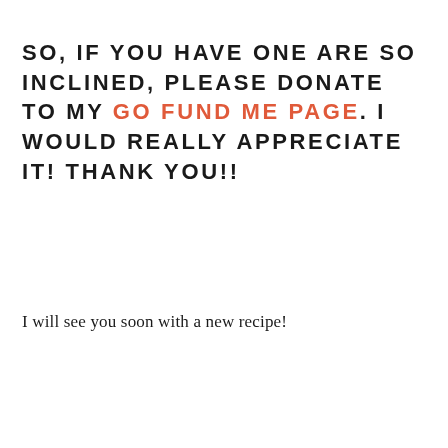SO, IF YOU HAVE ONE ARE SO INCLINED, PLEASE DONATE TO MY GO FUND ME PAGE. I WOULD REALLY APPRECIATE IT! THANK YOU!!
I will see you soon with a new recipe!